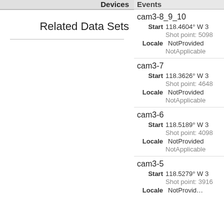Devices Events
Related Data Sets
cam3-8_9_10 Start 118.4604° W 32... Shot point: 5098... Locale NotProvided NotApplicable
cam3-7 Start 118.3626° W 32... Shot point: 4648... Locale NotProvided NotApplicable
cam3-6 Start 118.5189° W 32... Shot point: 4098... Locale NotProvided NotApplicable
cam3-5 Start 118.5279° W 32... Shot point: 3916... Locale NotProvid...